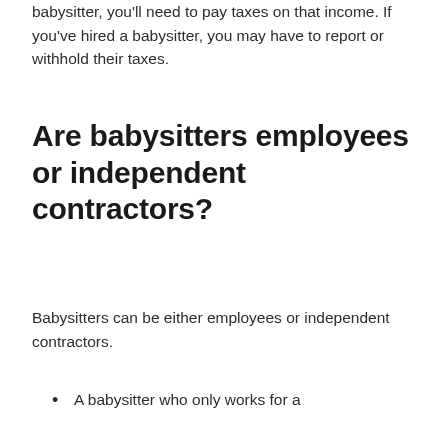babysitter, you'll need to pay taxes on that income. If you've hired a babysitter, you may have to report or withhold their taxes.
Are babysitters employees or independent contractors?
Babysitters can be either employees or independent contractors.
A babysitter who only works for a